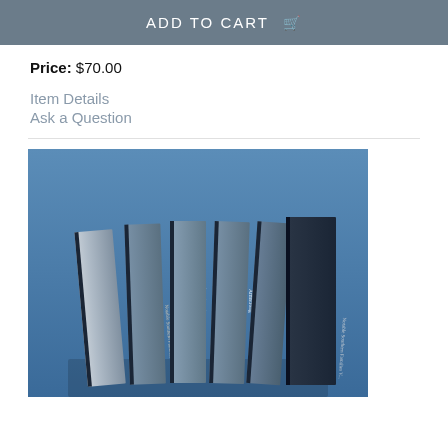ADD TO CART 🛒
Price: $70.00
Item Details
Ask a Question
[Figure (photo): Six blue hardcover books standing upright, spines visible, labeled 'Armstrong Notable Southern Families' and 'French Armstrong Notable Southern Families', photographed against a blue background.]